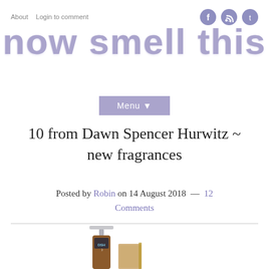About   Login to comment
now smell this
Menu ▼
10 from Dawn Spencer Hurwitz ~ new fragrances
Posted by Robin on 14 August 2018  —  12 Comments
[Figure (photo): DSH perfume bottle spray and box product photo]